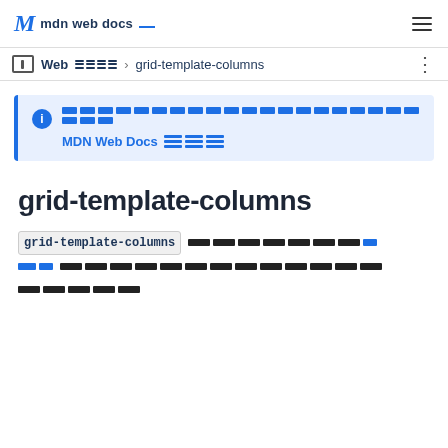mdn web docs
Web > grid-template-columns
[info box] MDN Web Docs [redacted content]
grid-template-columns
grid-template-columns [redacted description text]